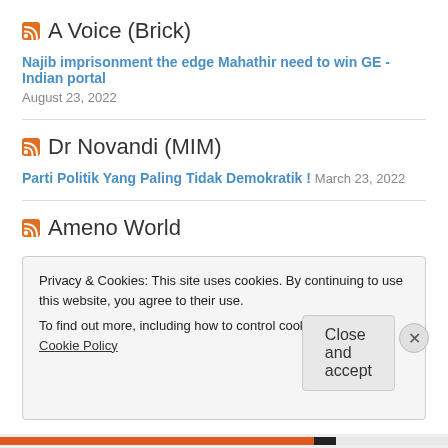A Voice (Brick)
Najib imprisonment the edge Mahathir need to win GE - Indian portal
August 23, 2022
Dr Novandi (MIM)
Parti Politik Yang Paling Tidak Demokratik !  March 23, 2022
Ameno World
Privacy & Cookies: This site uses cookies. By continuing to use this website, you agree to their use.
To find out more, including how to control cookies, see here: Cookie Policy
Close and accept